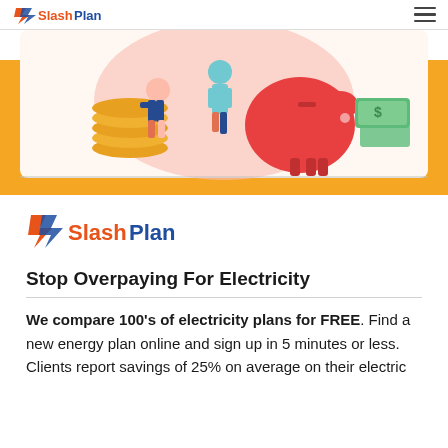SlashPlan (logo) [hamburger menu]
[Figure (illustration): Hero banner with orange background showing illustrated people sitting on stacks of coins, a large red/orange piggy bank, and green dollar bills/money. SlashPlan logo and hamburger menu visible at top.]
[Figure (logo): SlashPlan logo — orange lightning bolt/arrow icon with 'Slash' in orange and 'Plan' in dark navy bold text]
Stop Overpaying For Electricity
We compare 100's of electricity plans for FREE. Find a new energy plan online and sign up in 5 minutes or less. Clients report savings of 25% on average on their electric